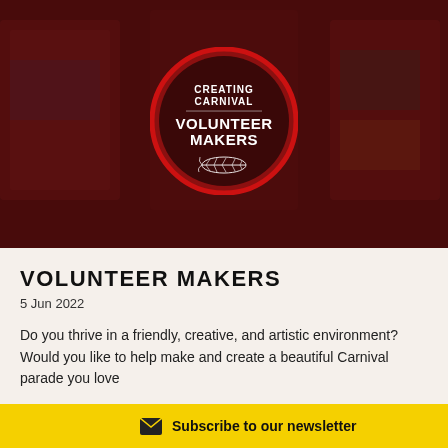[Figure (photo): Hero image with dark red overlay showing carnival parade artwork/banners. Centered circular badge with dark red background and red border reads 'CREATING CARNIVAL VOLUNTEER MAKERS' with a decorative feather illustration below.]
VOLUNTEER MAKERS
5 Jun 2022
Do you thrive in a friendly, creative, and artistic environment? Would you like to help make and create a beautiful Carnival parade you love
Subscribe to our newsletter